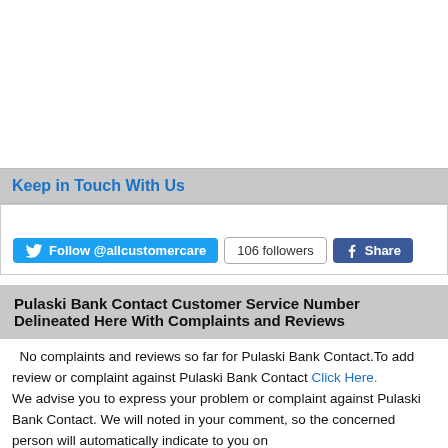Keep in Touch With Us
[Figure (screenshot): Twitter Follow @allcustomercare button and 106 followers count, plus Facebook Share button]
Pulaski Bank Contact Customer Service Number Delineated Here With Complaints and Reviews
No complaints and reviews so far for Pulaski Bank Contact.To add review or complaint against Pulaski Bank Contact Click Here.
We advise you to express your problem or complaint against Pulaski Bank Contact. We will noted in your comment, so the concerned person will automatically indicate to you on
[Figure (infographic): Post Your Complaint button banner with pencil icon]